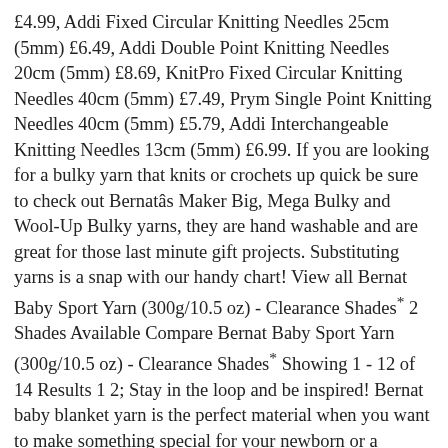£4.99, Addi Fixed Circular Knitting Needles 25cm (5mm) £6.49, Addi Double Point Knitting Needles 20cm (5mm) £8.69, KnitPro Fixed Circular Knitting Needles 40cm (5mm) £7.49, Prym Single Point Knitting Needles 40cm (5mm) £5.79, Addi Interchangeable Knitting Needles 13cm (5mm) £6.99. If you are looking for a bulky yarn that knits or crochets up quick be sure to check out Bernatâs Maker Big, Mega Bulky and Wool-Up Bulky yarns, they are hand washable and are great for those last minute gift projects. Substituting yarns is a snap with our handy chart! View all Bernat Baby Sport Yarn (300g/10.5 oz) - Clearance Shades* 2 Shades Available Compare Bernat Baby Sport Yarn (300g/10.5 oz) - Clearance Shades* Showing 1 - 12 of 14 Results 1 2; Stay in the loop and be inspired! Bernat baby blanket yarn is the perfect material when you want to make something special for your newborn or a grandchild on the way. You contact Bernat Yarn by visiting their website Yarnspirations.com. Our principle visions of conversions are PSD to HTML/XHTML and HTML5 â¦ from Bernat. This yarn provides a defined